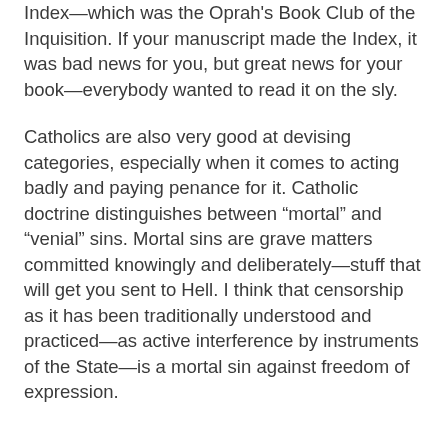Index—which was the Oprah's Book Club of the Inquisition. If your manuscript made the Index, it was bad news for you, but great news for your book—everybody wanted to read it on the sly.
Catholics are also very good at devising categories, especially when it comes to acting badly and paying penance for it. Catholic doctrine distinguishes between “mortal” and “venial” sins. Mortal sins are grave matters committed knowingly and deliberately—stuff that will get you sent to Hell. I think that censorship as it has been traditionally understood and practiced—as active interference by instruments of the State—is a mortal sin against freedom of expression.